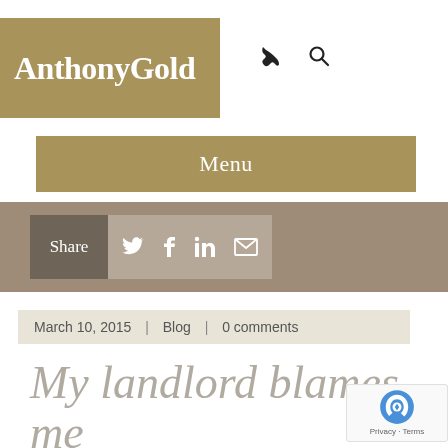AnthonyGold
Menu
Share
March 10, 2015 | Blog | 0 comments
My landlord blames me for Damp and Mould!